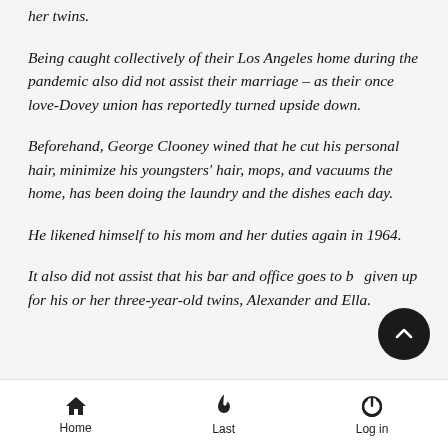her twins.
Being caught collectively of their Los Angeles home during the pandemic also did not assist their marriage – as their once love-Dovey union has reportedly turned upside down.
Beforehand, George Clooney wined that he cut his personal hair, minimize his youngsters' hair, mops, and vacuums the home, has been doing the laundry and the dishes each day.
He likened himself to his mom and her duties again in 1964.
It also did not assist that his bar and office goes to be given up for his or her three-year-old twins, Alexander and Ella.
Home   Last   Log in